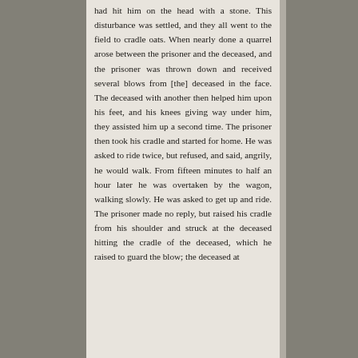had hit him on the head with a stone. This disturbance was settled, and they all went to the field to cradle oats. When nearly done a quarrel arose between the prisoner and the deceased, and the prisoner was thrown down and received several blows from [the] deceased in the face. The deceased with another then helped him upon his feet, and his knees giving way under him, they assisted him up a second time. The prisoner then took his cradle and started for home. He was asked to ride twice, but refused, and said, angrily, he would walk. From fifteen minutes to half an hour later he was overtaken by the wagon, walking slowly. He was asked to get up and ride. The prisoner made no reply, but raised his cradle from his shoulder and struck at the deceased hitting the cradle of the deceased, which he raised to guard the blow; the deceased at